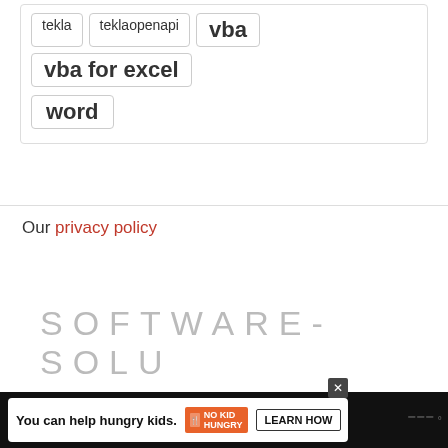tekla
teklaopenapi
vba
vba for excel
word
Our privacy policy
[Figure (other): Share button icon — circular white button with share/network icon]
SOFTWARE-SOLU
[Figure (other): Advertisement banner: 'You can help hungry kids.' with No Kid Hungry badge and LEARN HOW button]